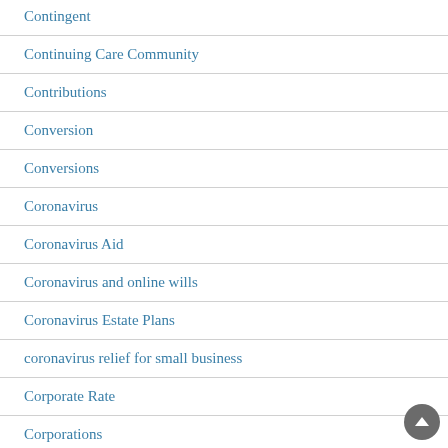Contingent
Continuing Care Community
Contributions
Conversion
Conversions
Coronavirus
Coronavirus Aid
Coronavirus and online wills
Coronavirus Estate Plans
coronavirus relief for small business
Corporate Rate
Corporations
Cost Basis